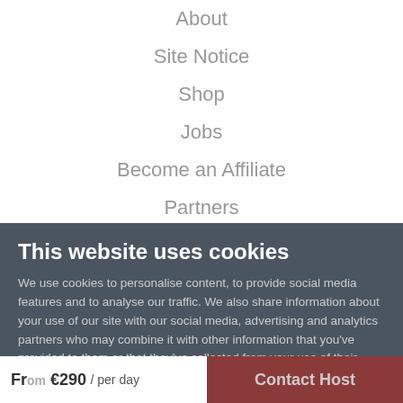About
Site Notice
Shop
Jobs
Become an Affiliate
Partners
Become a Host
Best Price Guarantee
This website uses cookies
We use cookies to personalise content, to provide social media features and to analyse our traffic. We also share information about your use of our site with our social media, advertising and analytics partners who may combine it with other information that you've provided to them or that they've collected from your use of their services. You consent to our cookies in accordance with our Cookie Policy if you continue to use our website.
OK
From €290 / per day
Contact Host